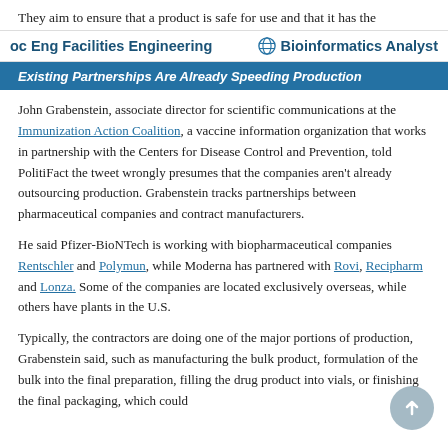They aim to ensure that a product is safe for use and that it has the
oc Eng Facilities Engineering    🌐 Bioinformatics Analyst
Existing Partnerships Are Already Speeding Production
John Grabenstein, associate director for scientific communications at the Immunization Action Coalition, a vaccine information organization that works in partnership with the Centers for Disease Control and Prevention, told PolitiFact the tweet wrongly presumes that the companies aren't already outsourcing production. Grabenstein tracks partnerships between pharmaceutical companies and contract manufacturers.
He said Pfizer-BioNTech is working with biopharmaceutical companies Rentschler and Polymun, while Moderna has partnered with Rovi, Recipharm and Lonza. Some of the companies are located exclusively overseas, while others have plants in the U.S.
Typically, the contractors are doing one of the major portions of production, Grabenstein said, such as manufacturing the bulk product, formulation of the bulk into the final preparation, filling the drug product into vials, or finishing the final packaging, which could